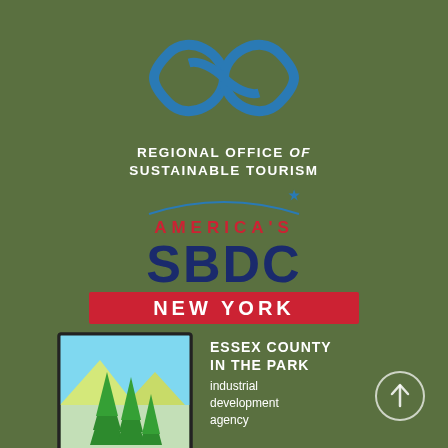[Figure (logo): Regional Office of Sustainable Tourism logo — blue infinity/loop symbol above white bold text]
[Figure (logo): America's SBDC New York logo — red AMERICA'S text with star, large dark blue SBDC, red NEW YORK banner]
[Figure (logo): Essex County In The Park industrial development agency logo — illustrated pine trees and mountains in a square frame]
ESSEX COUNTY IN THE PARK industrial development agency